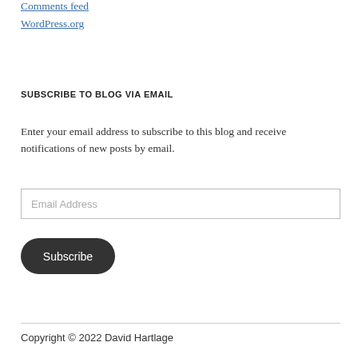Comments feed
WordPress.org
SUBSCRIBE TO BLOG VIA EMAIL
Enter your email address to subscribe to this blog and receive notifications of new posts by email.
Email Address
Subscribe
Copyright © 2022 David Hartlage